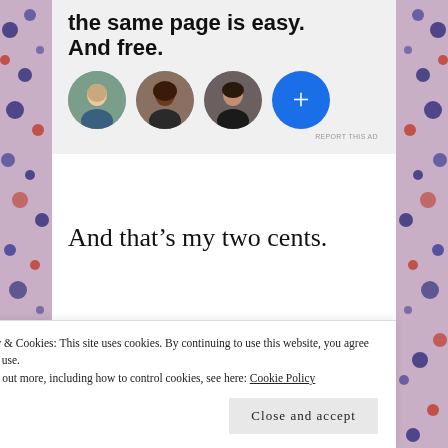[Figure (illustration): Advertisement banner with bold headline 'the same page is easy. And free.' on grey background, with three circular avatar photos and a blue circle with a plus sign]
REPORT THIS AD
And that’s my two cents.
[Figure (illustration): Partial floral illustration with green leaves, red and purple flowers]
Privacy & Cookies: This site uses cookies.  By continuing to use this website, you agree to their use.
To find out more, including how to control cookies, see here: Cookie Policy
Close and accept